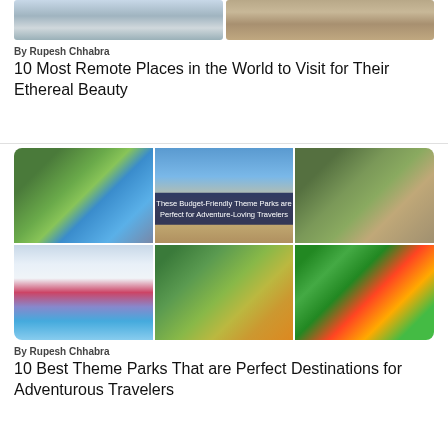[Figure (photo): Two travel photos side by side: snowy/icy landscape on left, dry arid landscape on right. Partially cropped at top of page.]
By Rupesh Chhabra
10 Most Remote Places in the World to Visit for Their Ethereal Beauty
[Figure (photo): Grid of 6 theme park photos: aerial view of water park, Universal Studios gate, roller coaster with family, indoor water park, aerial view of colorful water park, Everland theme park entrance. Overlay text: 'These Budget-Friendly Theme Parks are Perfect for Adventure-Loving Travelers']
By Rupesh Chhabra
10 Best Theme Parks That are Perfect Destinations for Adventurous Travelers